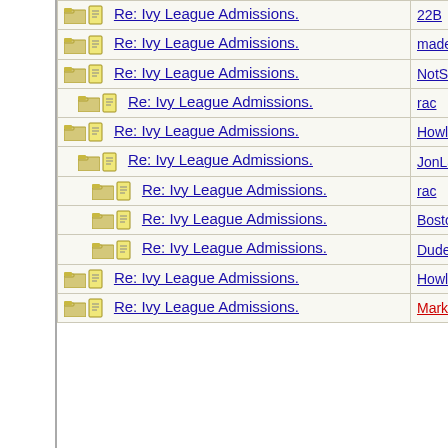| Subject | Author |
| --- | --- |
| Re: Ivy League Admissions. | 22B |
| Re: Ivy League Admissions. | madeinu |
| Re: Ivy League Admissions. | NotSoGi |
| Re: Ivy League Admissions. | rac |
| Re: Ivy League Admissions. | HowlerK |
| Re: Ivy League Admissions. | JonLaw |
| Re: Ivy League Admissions. | rac |
| Re: Ivy League Admissions. | Bostonia |
| Re: Ivy League Admissions. | Dude |
| Re: Ivy League Admissions. | HowlerK |
| Re: Ivy League Admissions. | Mark D. |